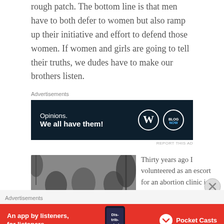rough patch. The bottom line is that men have to both defer to women but also ramp up their initiative and effort to defend those women. If women and girls are going to tell their truths, we dudes have to make our brothers listen.
Advertisements
[Figure (screenshot): Dark navy advertisement banner for WordPress/Blog Now: 'Opinions. We all have them!' with WordPress and Blog Now logos on the right.]
[Figure (photo): Black and white photo of protesters holding signs reading 'ABORTION IS MURDER'.]
Thirty years ago I volunteered as an escort for an abortion clinic in Atlanta. This was a time
Advertisements
[Figure (screenshot): Red advertisement banner for Pocket Casts: 'An app by listeners, for listeners.' with Pocket Casts logo and a phone showing 'Distributed'.]